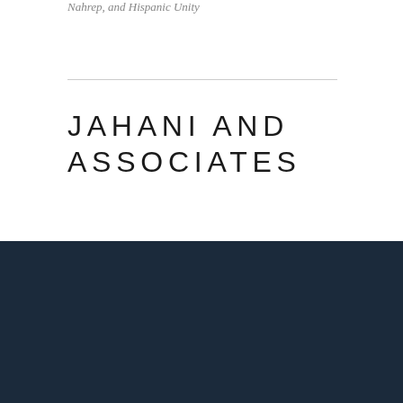Nahrep, and Hispanic Unity
JAHANI AND ASSOCIATES
We use cookies to enhance your experience while using our website. To learn more about the cookies we use and the data we collect, please check our Privacy Settings.
I Accept